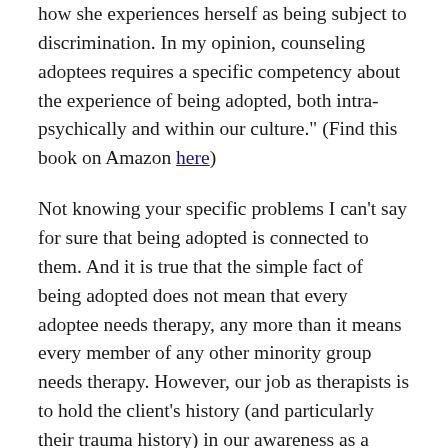how she experiences herself as being subject to discrimination. In my opinion, counseling adoptees requires a specific competency about the experience of being adopted, both intra-psychically and within our culture." (Find this book on Amazon here)
Not knowing your specific problems I can't say for sure that being adopted is connected to them. And it is true that the simple fact of being adopted does not mean that every adoptee needs therapy, any more than it means every member of any other minority group needs therapy. However, our job as therapists is to hold the client's history (and particularly their trauma history) in our awareness as a possible factor in any problem they are experiencing. I certainly want to encourage you to have an in-depth discussion with your therapist about why he/she is ruling out this aspect of your personal history as being related to whatever issues you are dealing with.
Adoptees, in general, benefit by working therapists who have a multi-cultural competency in the experience of being adopted. You have a right to ask your therapist or your potential therapist